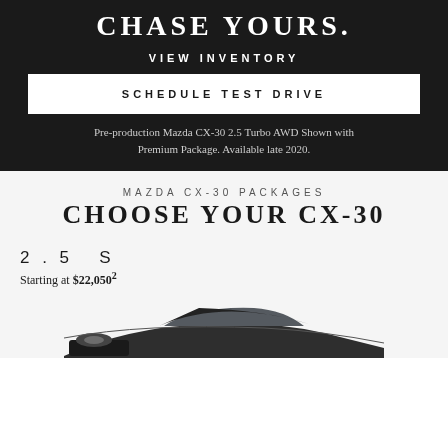CHASE YOURS.
VIEW INVENTORY
SCHEDULE TEST DRIVE
Pre-production Mazda CX-30 2.5 Turbo AWD Shown with Premium Package. Available late 2020.
MAZDA CX-30 PACKAGES
CHOOSE YOUR CX-30
2.5 S
Starting at $22,0502
[Figure (photo): Partial view of a dark grey Mazda CX-30 vehicle from the front/side angle, showing the hood and windshield area against a light grey background.]